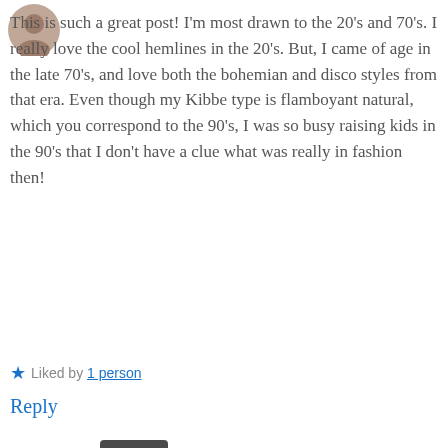[Figure (photo): Small circular avatar image of a person]
This is such a great post! I'm most drawn to the 20's and 70's. I really love the cool hemlines in the 20's. But, I came of age in the late 70's, and love both the bohemian and disco styles from that era. Even though my Kibbe type is flamboyant natural, which you correspond to the 90's, I was so busy raising kids in the 90's that I don't have a clue what was really in fashion then!
★ Liked by 1 person
Reply
[Figure (photo): Square avatar image of DoctorTDesigns showing a vintage sewing machine]
DoctorTDesigns   May 14, 2019 at 1:13 pm
😂 that's fair! I was a kid in the 90s and I don't remember the fashion except that I didn't like it. Kids clothes were a